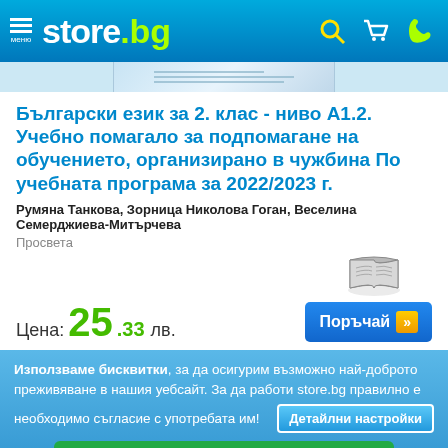store.bg — меню, търсене, количка, телефон
[Figure (illustration): Partial view of a book cover image strip]
Български език за 2. клас - ниво А1.2. Учебно помагало за подпомагане на обучението, организирано в чужбина По учебната програма за 2022/2023 г.
Румяна Танкова, Зорница Николова Гоган, Веселина Семерджиева-Митърчева
Просвета
[Figure (illustration): Book icon (open book graphic)]
Цена: 25.33 лв.
Поръчай
Използваме бисквитки, за да осигурим възможно най-доброто преживяване в нашия уебсайт. За да работи store.bg правилно е необходимо съгласие с употребата им!
Детайлни настройки
Съгласен съм с бисквитките